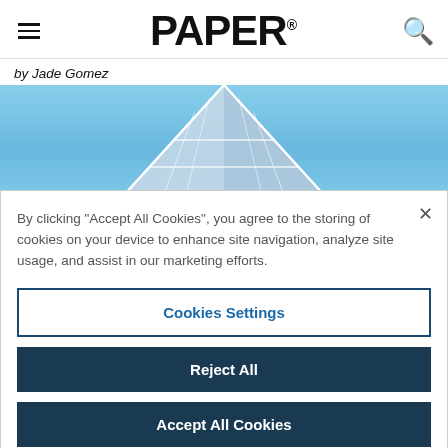PAPER®
by Jade Gomez
[Figure (photo): Looking up at the glass corner of a modern skyscraper against a clear blue sky]
By clicking “Accept All Cookies”, you agree to the storing of cookies on your device to enhance site navigation, analyze site usage, and assist in our marketing efforts.
Cookies Settings
Reject All
Accept All Cookies